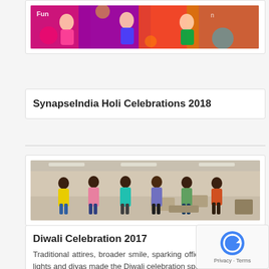[Figure (photo): Partial view of colorful Holi celebration photo at top of page, partially cut off]
SynapseIndia Holi Celebrations 2018
[Figure (photo): People in an office or event hall, several individuals walking or standing, casual attire, indoor setting]
Diwali Celebration 2017
Traditional attires, broader smile, sparking office decorated with lights and diyas made the Diwali celebration special